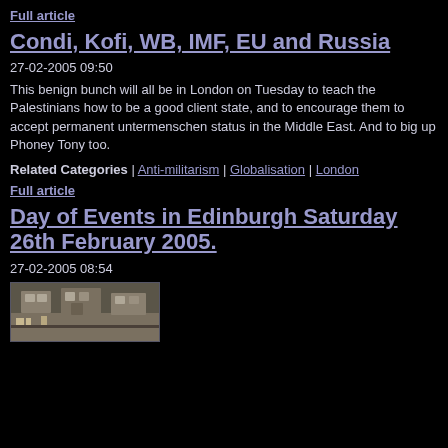Full article
Condi, Kofi, WB, IMF, EU and Russia
27-02-2005 09:50
This benign bunch will all be in London on Tuesday to teach the Palestinians how to be a good client state, and to encourage them to accept permanent untermenschen status in the Middle East. And to big up Phoney Tony too.
Related Categories | Anti-militarism | Globalisation | London
Full article
Day of Events in Edinburgh Saturday 26th February 2005.
27-02-2005 08:54
[Figure (photo): Photo of a stone building exterior, Edinburgh]